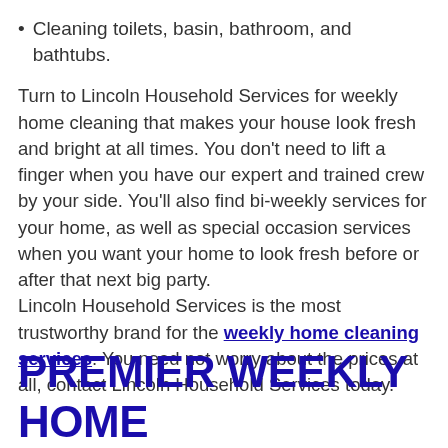Cleaning toilets, basin, bathroom, and bathtubs.
Turn to Lincoln Household Services for weekly home cleaning that makes your house look fresh and bright at all times. You don't need to lift a finger when you have our expert and trained crew by your side. You'll also find bi-weekly services for your home, as well as special occasion services when you want your home to look fresh before or after that next big party.
Lincoln Household Services is the most trustworthy brand for the weekly home cleaning services. You need not worry about the prices at all, contact Lincoln Household Services today.
PREMIER WEEKLY HOME